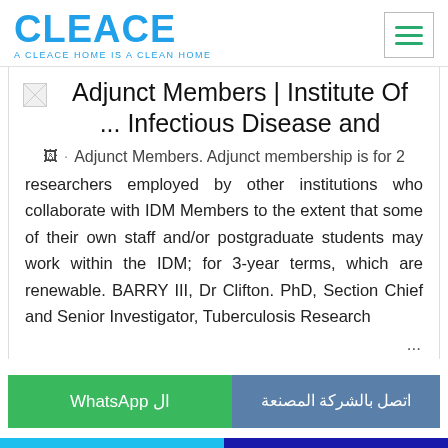CLEACE — A CLEACE HOME IS A CLEAN HOME
Adjunct Members | Institute Of ... Infectious Disease and
Adjunct Members. Adjunct membership is for 2 researchers employed by other institutions who collaborate with IDM Members to the extent that some of their own staff and/or postgraduate students may work within the IDM; for 3-year terms, which are renewable. BARRY III, Dr Clifton. PhD, Section Chief and Senior Investigator, Tuberculosis Research ...
ال WhatsApp
اتصل بالشركة المصنعة
Chat online
WhatsApp